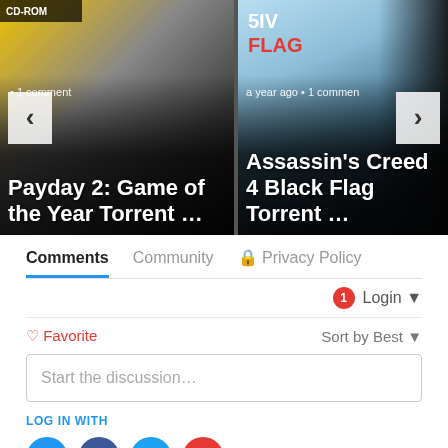[Figure (screenshot): Carousel showing two game thumbnails: Payday 2 Game of the Year and Assassin's Creed 4 Black Flag with navigation arrows]
a year ago • 1 comment
Payday 2: Game of the Year Torrent …
a year ago • 1 comment
Assassin's Creed 4 Black Flag Torrent …
Comments   Community   🔒 Privacy Policy
🔔 1   Login ▾
♡ Favorite   Sort by Best ▾
Start the discussion…
LOG IN WITH
[Figure (other): Social login icons: Disqus (D), Facebook (F), Twitter bird, Google (G)]